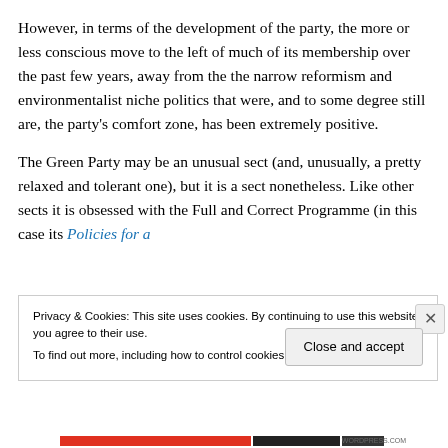However, in terms of the development of the party, the more or less conscious move to the left of much of its membership over the past few years, away from the the narrow reformism and environmentalist niche politics that were, and to some degree still are, the party's comfort zone, has been extremely positive.
The Green Party may be an unusual sect (and, unusually, a pretty relaxed and tolerant one), but it is a sect nonetheless. Like other sects it is obsessed with the Full and Correct Programme (in this case its Policies for a
Privacy & Cookies: This site uses cookies. By continuing to use this website, you agree to their use.
To find out more, including how to control cookies, see here: Cookie Policy